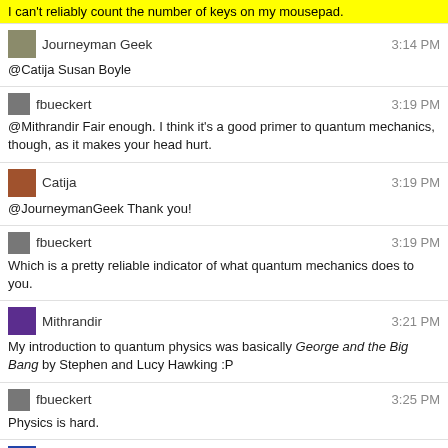I can't reliably count the number of keys on my mousepad.
Journeyman Geek 3:14 PM
@Catija Susan Boyle
fbueckert 3:19 PM
@Mithrandir Fair enough. I think it's a good primer to quantum mechanics, though, as it makes your head hurt.
Catija 3:19 PM
@JourneymanGeek Thank you!
fbueckert 3:19 PM
Which is a pretty reliable indicator of what quantum mechanics does to you.
Mithrandir 3:21 PM
My introduction to quantum physics was basically George and the Big Bang by Stephen and Lucy Hawking :P
fbueckert 3:25 PM
Physics is hard.
Kevin B 3:38 PM
meh
Margarine 4:04 PM
1  Q: Are pictures of this or that past dictator